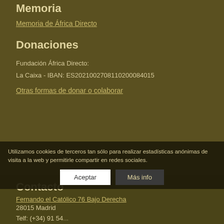Memoria
Memoria de África Directo
Donaciones
Fundación África Directo:
La Caixa - IBAN: ES2021002708110200084015
Otras formas de donar o colaborar
Contacto
Fernando el Católico 76 Bajo Derecha
28015 Madrid

Telf: (+34) 91 54...
Utilizamos cookies de terceros tan sólo para realizar estadísticas anónimas de visita a la web y permitirle compartir en redes sociales.